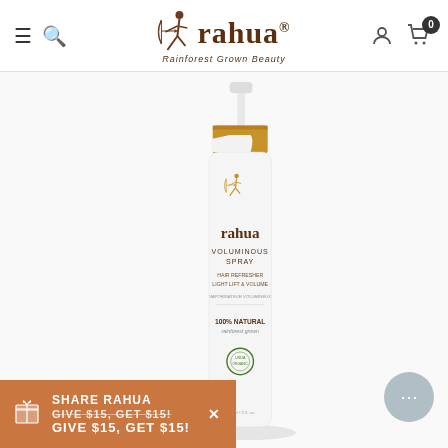rahua - Rainforest Grown Beauty - Navigation bar with hamburger menu, search, account, and cart icons
[Figure (photo): Rahua Voluminous Spray product bottle - white bottle with gold cap, featuring the Rahua archer logo in gold, labeled VOLUMINOUS SPRAY HAIR REFRESHER LIGHT LIFT & VOLUME, VAPORISATEUR VOLUMINEUX, 100% NATURAL rainforest grown, with USDA organic seal]
SHARE RAHUA GIVE $15, GET $15!